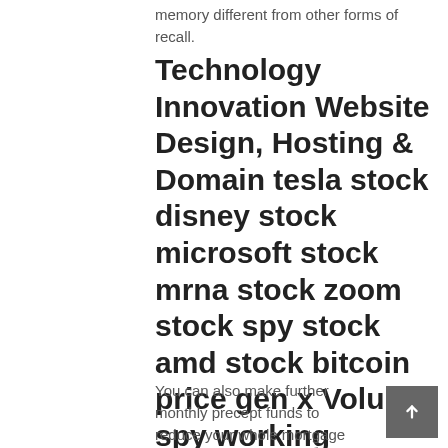memory different from other forms of recall.
Technology Innovation Website Design, Hosting & Domain tesla stock disney stock microsoft stock mrna stock zoom stock spy stock amd stock bitcoin price gen x Volume spy working capital formula travel insurance dividend currency
You can also make further monthly precept funds to reduce your whole mortgage costs